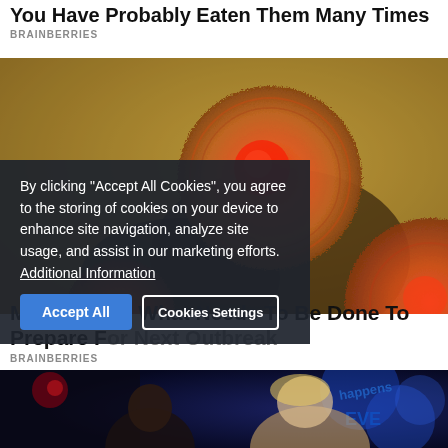You Have Probably Eaten Them Many Times
BRAINBERRIES
[Figure (photo): Microscopic image of monkeypox virus particles, orange/red spherical shapes on a golden-brown background]
By clicking "Accept All Cookies", you agree to the storing of cookies on your device to enhance site navigation, analyze site usage, and assist in our marketing efforts. Additional Information
Accept All   Cookies Settings
Monkeypox: What Needs To Be Done To Prepare For Next Outbreak
BRAINBERRIES
[Figure (photo): Two people on a TV show set with blue lighting, a man and a blonde woman laughing]